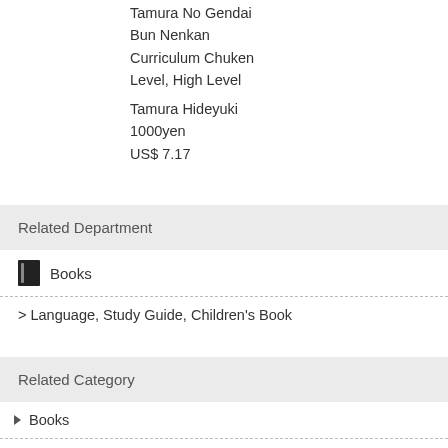Tamura No Gendai Bun Nenkan Curriculum Chuken Level, High Level
Tamura Hideyuki
1000yen
US$ 7.17
Related Department
Books
> Language, Study Guide, Children's Book
Related Category
▶ Books
> Test Prep & Study Guide